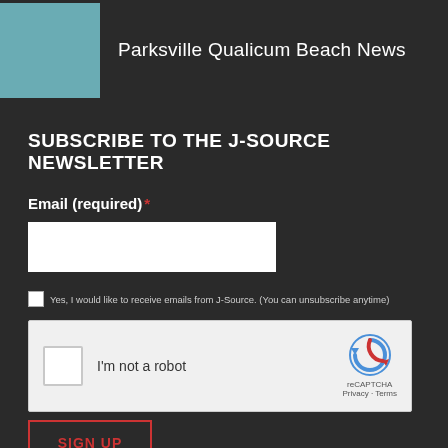[Figure (logo): Teal square logo with Parksville Qualicum Beach News text]
SUBSCRIBE TO THE J-SOURCE NEWSLETTER
Email (required) *
[Figure (screenshot): Email input text field (white rectangle)]
Yes, I would like to receive emails from J-Source. (You can unsubscribe anytime)
[Figure (screenshot): reCAPTCHA widget with 'I'm not a robot' checkbox, reCAPTCHA logo, Privacy and Terms links]
SIGN UP